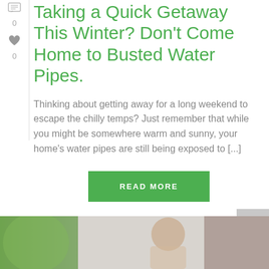Taking a Quick Getaway This Winter? Don't Come Home to Busted Water Pipes.
Thinking about getting away for a long weekend to escape the chilly temps? Just remember that while you might be somewhere warm and sunny, your home's water pipes are still being exposed to [...]
READ MORE
[Figure (photo): Woman with child near window, partially visible at bottom of page]